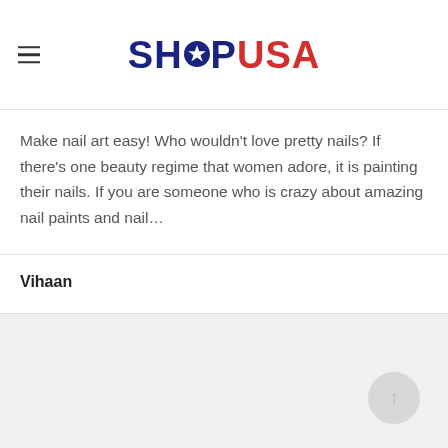SHOPUSA
Make nail art easy! Who wouldn't love pretty nails? If there's one beauty regime that women adore, it is painting their nails. If you are someone who is crazy about amazing nail paints and nail...
Vihaan